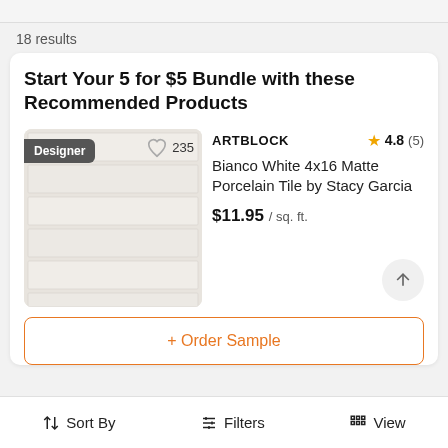18 results
Start Your 5 for $5 Bundle with these Recommended Products
[Figure (photo): White matte porcelain tile product image showing a grid of rectangular 4x16 tiles in a light beige/white color, with a Designer badge and a heart icon showing 235 likes]
ARTBLOCK
4.8 (5)
Bianco White 4x16 Matte Porcelain Tile by Stacy Garcia
$11.95 / sq. ft.
+ Order Sample
Sort By   Filters   View